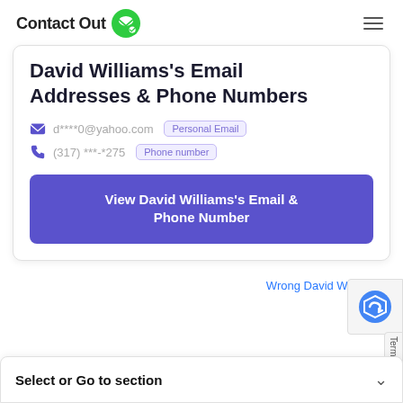ContactOut
David Williams's Email Addresses & Phone Numbers
d****0@yahoo.com  Personal Email
(317) ***-*275  Phone number
View David Williams's Email & Phone Number
Wrong David Williams?
Select or Go to section